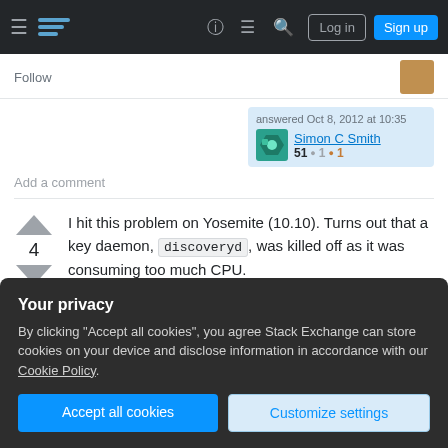Stack Exchange navigation bar with hamburger menu, logo, help, chat, search icons, Log in and Sign up buttons
Follow
answered Oct 8, 2012 at 10:35
Simon C Smith 51 ●1 ●1
Add a comment
I hit this problem on Yosemite (10.10). Turns out that a key daemon, discoveryd, was killed off as it was consuming too much CPU.
2014/10/22 3:50:07.000 PM kernel[0]: proces
Your privacy
By clicking "Accept all cookies", you agree Stack Exchange can store cookies on your device and disclose information in accordance with our Cookie Policy.
Accept all cookies
Customize settings